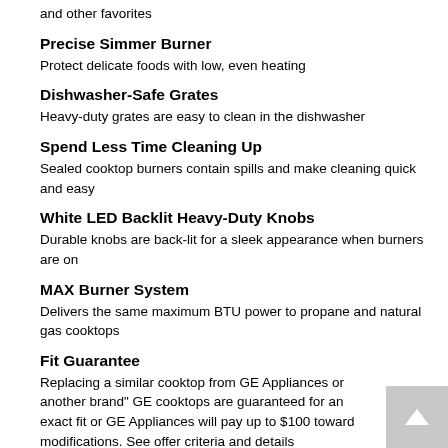and other favorites
Precise Simmer Burner
Protect delicate foods with low, even heating
Dishwasher-Safe Grates
Heavy-duty grates are easy to clean in the dishwasher
Spend Less Time Cleaning Up
Sealed cooktop burners contain spills and make cleaning quick and easy
White LED Backlit Heavy-Duty Knobs
Durable knobs are back-lit for a sleek appearance when burners are on
MAX Burner System
Delivers the same maximum BTU power to propane and natural gas cooktops
Fit Guarantee
Replacing a similar cooktop from GE Appliances or another brand" GE cooktops are guaranteed for an exact fit or GE Appliances will pay up to $100 toward modifications. See offer criteria and details